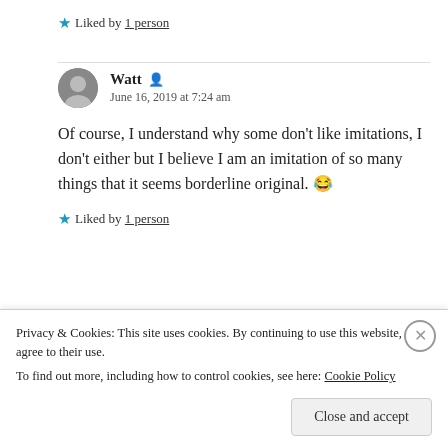★ Liked by 1 person
Watt
June 16, 2019 at 7:24 am
Of course, I understand why some don't like imitations, I don't either but I believe I am an imitation of so many things that it seems borderline original. 😂
★ Liked by 1 person
Privacy & Cookies: This site uses cookies. By continuing to use this website, you agree to their use. To find out more, including how to control cookies, see here: Cookie Policy
Close and accept